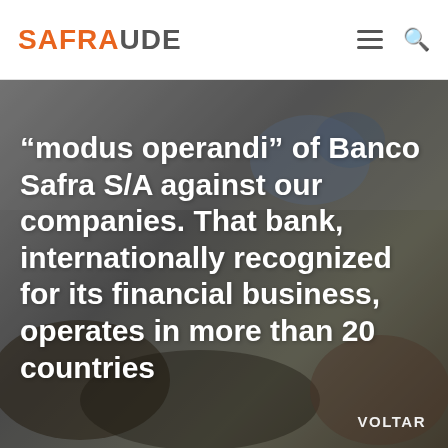SAFRAUDE
[Figure (photo): Blurred office/indoor background image with dark overlay, serving as hero background for article text about Banco Safra S/A]
“modus operandi” of Banco Safra S/A against our companies. That bank, internationally recognized for its financial business, operates in more than 20 countries
VOLTAR